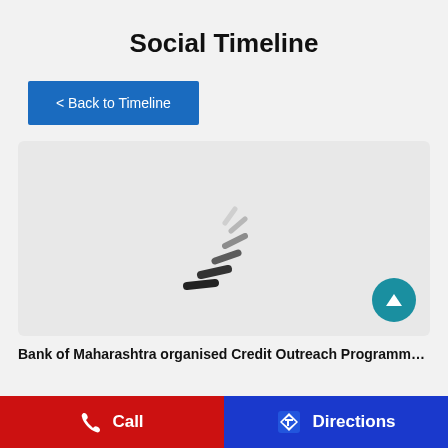Social Timeline
< Back to Timeline
[Figure (screenshot): Loading spinner (animated lines) on a light grey card background with a teal scroll-up arrow button at bottom right]
Bank of Maharashtra organised Credit Outreach Programme at Pun
Call
Directions